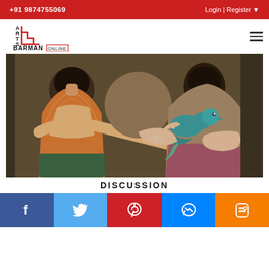+91 9874755069   Login | Register
[Figure (logo): Arts Barman Online logo with staircase design in red and black]
[Figure (photo): Painting of two stylized women holding a teal bird, in earthy browns and teal tones]
DISCUSSION
[Figure (infographic): Social media share buttons row: Facebook, Twitter, Pinterest, Messenger, Blogger]